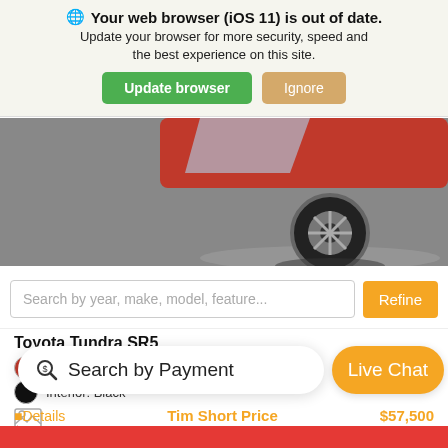Your web browser (iOS 11) is out of date. Update your browser for more security, speed and the best experience on this site.
Update browser | Ignore
[Figure (photo): Car photo showing a red Toyota Tundra with visible wheel on dark gray background]
Search by year, make, model, feature...
Refine
Toyota Tundra SR5
Exterior: Red
Interior: Black
[Figure (illustration): Broken image icon]
Details
Search by Payment
Live Chat
Tim Short Price
$57,500